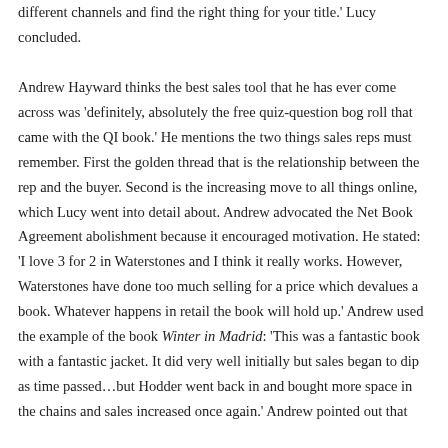different channels and find the right thing for your title.' Lucy concluded. Andrew Hayward thinks the best sales tool that he has ever come across was 'definitely, absolutely the free quiz-question bog roll that came with the QI book.' He mentions the two things sales reps must remember. First the golden thread that is the relationship between the rep and the buyer. Second is the increasing move to all things online, which Lucy went into detail about. Andrew advocated the Net Book Agreement abolishment because it encouraged motivation. He stated: 'I love 3 for 2 in Waterstones and I think it really works. However, Waterstones have done too much selling for a price which devalues a book. Whatever happens in retail the book will hold up.' Andrew used the example of the book Winter in Madrid: 'This was a fantastic book with a fantastic jacket. It did very well initially but sales began to dip as time passed…but Hodder went back in and bought more space in the chains and sales increased once again.' Andrew pointed out that